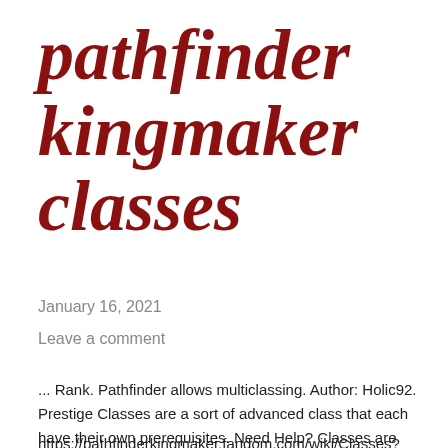pathfinder kingmaker classes
January 16, 2021
Leave a comment
... Rank. Pathfinder allows multiclassing. Author: Holic92. Prestige Classes are a sort of advanced class that each have their own prerequisites. Need Help? Classes are broadly defined specializations of a character.
https://pathfinderkingmaker.fandom.com/wiki/Classes?